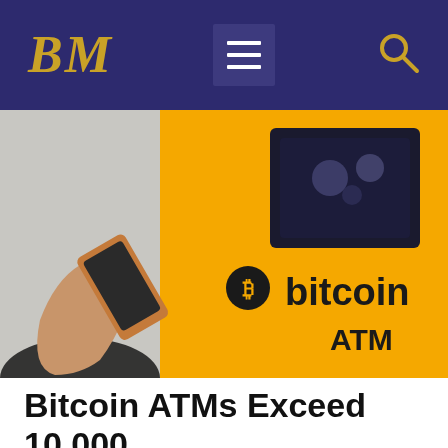BM
[Figure (photo): A person holding a smartphone next to a yellow Bitcoin ATM machine with the word 'bitcoin' and 'ATM' printed on it.]
Bitcoin ATMs Exceed 10,000 Globally